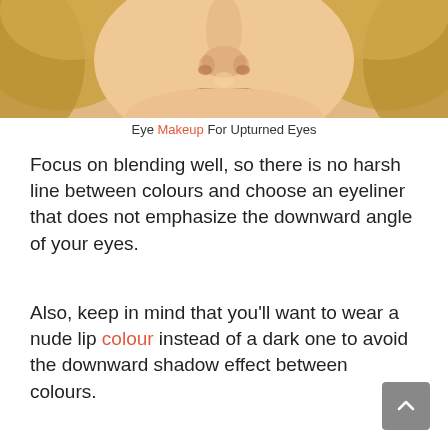[Figure (photo): Close-up photo of a woman's face showing her nose and lips, with blonde wavy hair on either side. The image is cropped to show the lower face area.]
Eye Makeup For Upturned Eyes
Focus on blending well, so there is no harsh line between colours and choose an eyeliner that does not emphasize the downward angle of your eyes.
Also, keep in mind that you'll want to wear a nude lip colour instead of a dark one to avoid the downward shadow effect between colours.